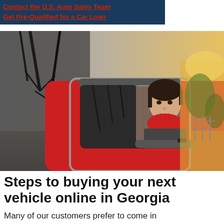Contact the U.S. Auto Sales Team
Get Pre-Qualified for a Car Loan
[Figure (photo): Woman in a red scarf leaning out of a red car window, with bare trees on the left and a sunny park path on the right.]
Steps to buying your next vehicle online in Georgia
Many of our customers prefer to come in